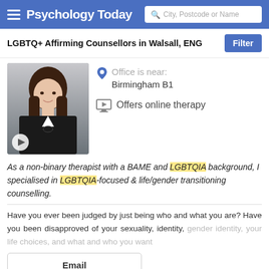Psychology Today — City, Postcode or Name search
LGBTQ+ Affirming Counsellors in Walsall, ENG
[Figure (photo): Therapist profile photo of a young woman with long brown hair wearing a dark jacket with a bow tie, with a video play button overlay]
Office is near: Birmingham B1
Offers online therapy
As a non-binary therapist with a BAME and LGBTQIA background, I specialised in LGBTQIA-focused & life/gender transitioning counselling.
Have you ever been judged by just being who and what you are? Have you been disapproved of your sexuality, identity, gender identity, your life choices, and what and who you want
Email
Suz West
Counsellor, MBACP, Accred...